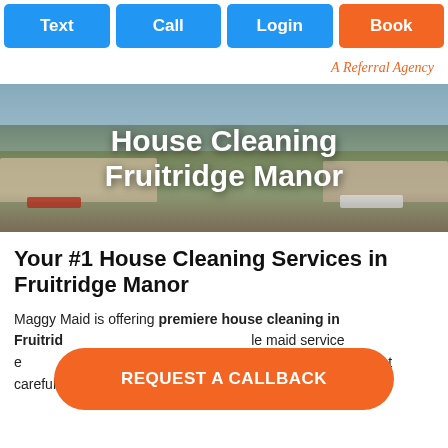Text | Call | Login | Book
A Referral Agency
[Figure (photo): Hero image of a suburban neighborhood with houses, trees, and parked cars, with white bold text overlay reading 'House Cleaning Fruitridge Manor']
Your #1 House Cleaning Services in Fruitridge Manor
Maggy Maid is offering premiere house cleaning in Fruitridge Manor ... le maid service e ... erved by our referred yet carefully vetted domestic
[Figure (other): Orange rounded rectangle call-to-action button with white bold text 'REQUEST A CALLBACK']